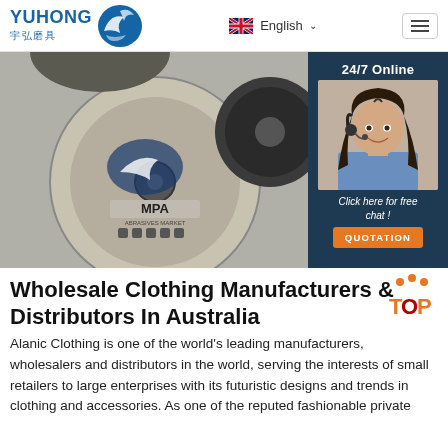YUHONG 宇弘磨具 | English
[Figure (photo): Photo of abrasive cutting discs with shark logo and MPA marking, alongside a 24/7 online chat widget showing a female customer service agent with headset, a 'Click here for free chat!' prompt, and an orange QUOTATION button]
Wholesale Clothing Manufacturers & Distributors In Australia
Alanic Clothing is one of the world's leading manufacturers, wholesalers and distributors in the world, serving the interests of small retailers to large enterprises with its futuristic designs and trends in clothing and accessories. As one of the reputed fashionable private